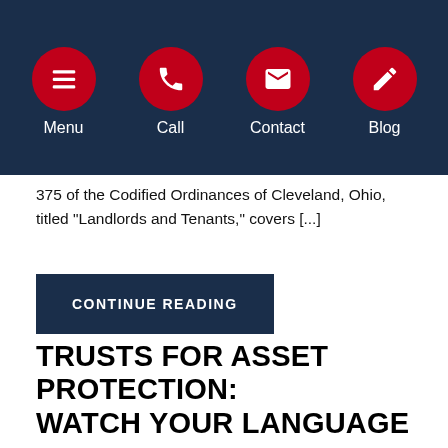Menu | Call | Contact | Blog
375 of the Codified Ordinances of Cleveland, Ohio, titled “Landlords and Tenants,” covers […]
CONTINUE READING
TRUSTS FOR ASSET PROTECTION: WATCH YOUR LANGUAGE